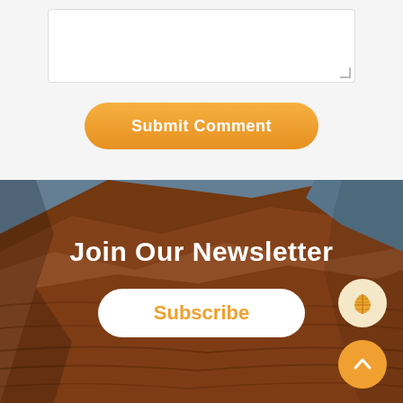[Figure (screenshot): White textarea input box with resize handle in bottom right corner]
[Figure (screenshot): Orange rounded button labeled Submit Comment]
Join Our Newsletter
[Figure (screenshot): White rounded button labeled Subscribe in orange text, overlaid on rocky cliff background photo]
[Figure (screenshot): Circular shell icon button (cream background) and circular arrow-up button (orange background) on right side]